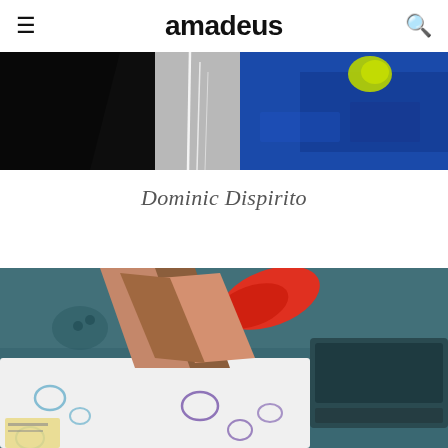amadeus
[Figure (photo): Abstract painting with black angular shape on the left, white drips in the center, and blue tones on the right with a yellow-green element]
Dominic Dispirito
[Figure (photo): Figurative painting of crossed legs with red shoe on a patterned white fabric, set against a teal/blue-grey background with a dark grey appliance on the right]